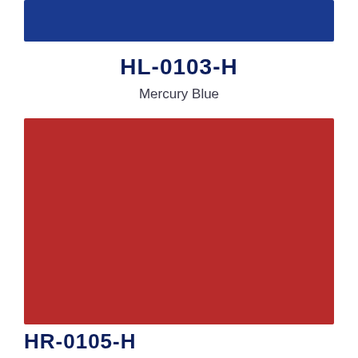[Figure (other): Solid dark blue horizontal color swatch bar]
HL-0103-H
Mercury Blue
[Figure (other): Solid dark red/fire red large color swatch rectangle]
HR-0105-H
Fire Red
[Figure (other): Red square button with upward arrow icon]